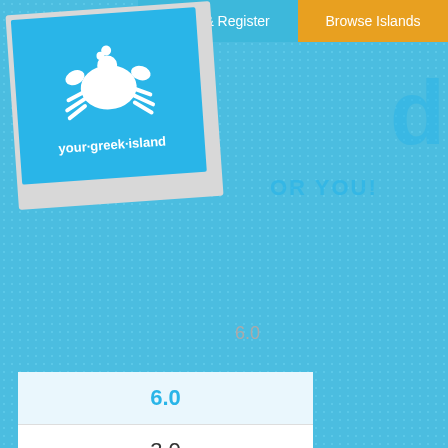Login & Register | Browse Islands
[Figure (logo): your·greek·island logo with crab icon on blue background card]
6.0
3.0
7.0
8.0
8.0
8.1
8.0